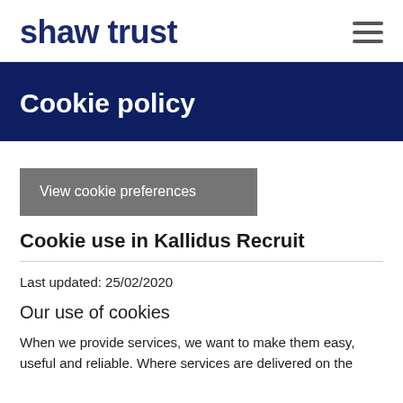shaw trust
Cookie policy
View cookie preferences
Cookie use in Kallidus Recruit
Last updated: 25/02/2020
Our use of cookies
When we provide services, we want to make them easy, useful and reliable. Where services are delivered on the